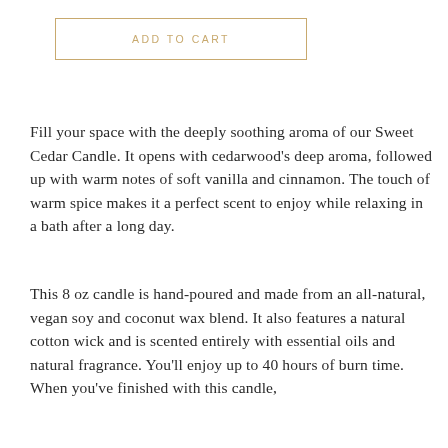ADD TO CART
Fill your space with the deeply soothing aroma of our Sweet Cedar Candle. It opens with cedarwood's deep aroma, followed up with warm notes of soft vanilla and cinnamon. The touch of warm spice makes it a perfect scent to enjoy while relaxing in a bath after a long day.
This 8 oz candle is hand-poured and made from an all-natural, vegan soy and coconut wax blend. It also features a natural cotton wick and is scented entirely with essential oils and natural fragrance. You'll enjoy up to 40 hours of burn time. When you've finished with this candle,